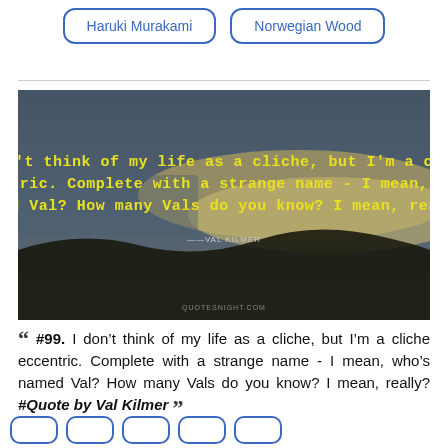Haruki Murakami | Norwegian Wood
[Figure (photo): Aerial landscape photo with dark coastline, sandy terrain, and water, overlaid with yellow bold text quote: 'I don't think of my life as a cliche, but I'm a cliche eccentric. Complete with a strange name - I mean, who's named Val? How many Vals do you know? I mean, really?' and small attribution text '—VAL KILMER', watermark 'QUOTESNIGHT.COM' at bottom]
““ #99. I don’t think of my life as a cliche, but I’m a cliche eccentric. Complete with a strange name - I mean, who’s named Val? How many Vals do you know? I mean, really? #Quote by Val Kilmer ””
[bottom tag buttons row]